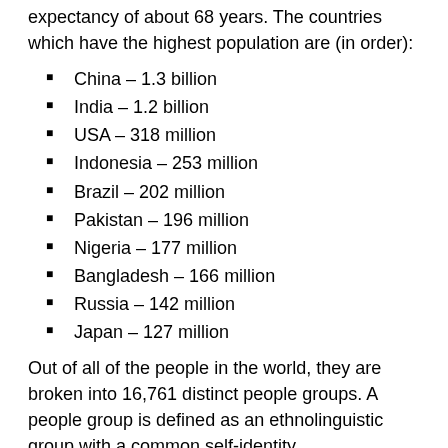expectancy of about 68 years. The countries which have the highest population are (in order):
China – 1.3 billion
India – 1.2 billion
USA – 318 million
Indonesia – 253 million
Brazil – 202 million
Pakistan – 196 million
Nigeria – 177 million
Bangladesh – 166 million
Russia – 142 million
Japan – 127 million
Out of all of the people in the world, they are broken into 16,761 distinct people groups. A people group is defined as an ethnolinguistic group with a common self-identity